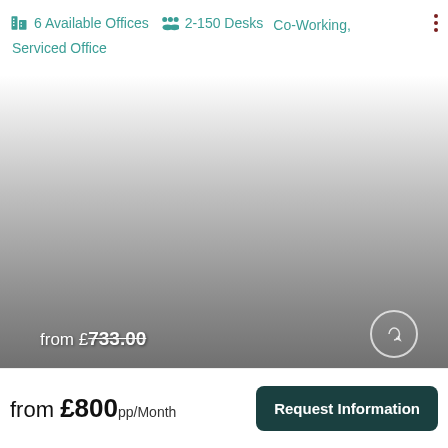6 Available Offices  2-150 Desks  Co-Working, Serviced Office
[Figure (photo): Office building interior image with gradient overlay, partially visible price text 'from £733.00' at bottom left and a circular arrow icon at bottom right]
from £800pp/Month
Request Information